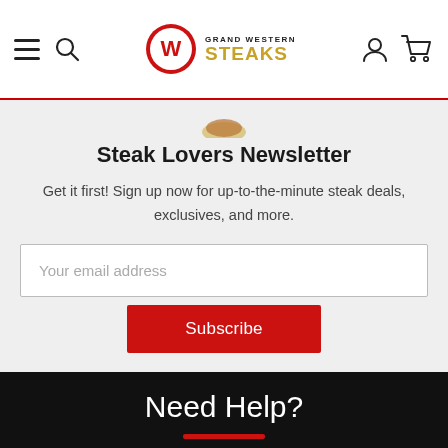[Figure (logo): Grand Western Steaks logo with W emblem in red circle and golden STEAKS text]
Steak Lovers Newsletter
Get it first! Sign up now for up-to-the-minute steak deals, exclusives, and more.
Your email address
Subscribe
Need Help?